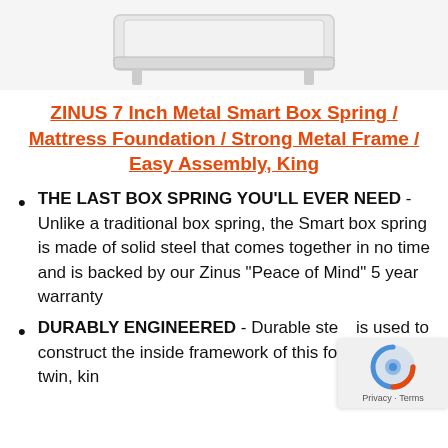[Figure (photo): Partial product image of a white metal box spring/mattress foundation, cropped at the top]
ZINUS 7 Inch Metal Smart Box Spring / Mattress Foundation / Strong Metal Frame / Easy Assembly, King
THE LAST BOX SPRING YOU'LL EVER NEED - Unlike a traditional box spring, the Smart box spring is made of solid steel that comes together in no time and is backed by our Zinus “Peace of Mind” 5 year warranty
DURABLY ENGINEERED - Durable steel is used to construct the inside framework of this foundation; twin, king [cut off]